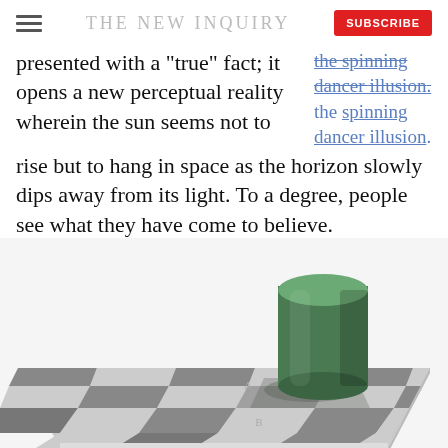THE NEW INQUIRY
presented with a "true" fact; it opens a new perceptual reality wherein the sun seems not to rise but to hang in space as the horizon slowly dips away from its light. To a degree, people see what they have come to believe.
the spinning dancer illusion.
[Figure (illustration): The Adelson checker shadow illusion: a checkerboard viewed in perspective with a green 3D cylinder casting a shadow. Squares labeled A and B appear different shades but are actually the same gray.]